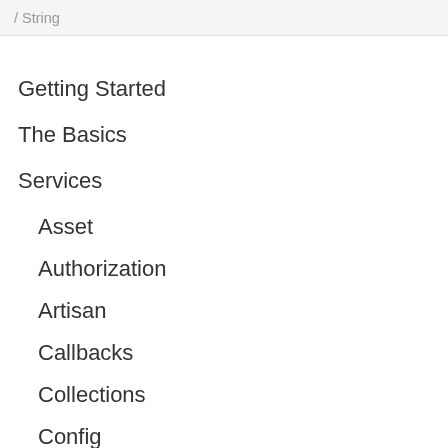/ String
Getting Started
The Basics
Services
Asset
Authorization
Artisan
Callbacks
Collections
Config
Currency